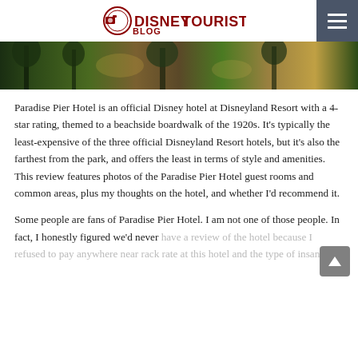DISNEYTOURISTBLOG
[Figure (photo): Outdoor nighttime or dusk photo of Paradise Pier Hotel area with trees and warm lighting]
Paradise Pier Hotel is an official Disney hotel at Disneyland Resort with a 4-star rating, themed to a beachside boardwalk of the 1920s. It's typically the least-expensive of the three official Disneyland Resort hotels, but it's also the farthest from the park, and offers the least in terms of style and amenities. This review features photos of the Paradise Pier Hotel guest rooms and common areas, plus my thoughts on the hotel, and whether I'd recommend it.
Some people are fans of Paradise Pier Hotel. I am not one of those people. In fact, I honestly figured we'd never have a review of the hotel because I refused to pay anywhere near rack rate at this hotel and the type of insane